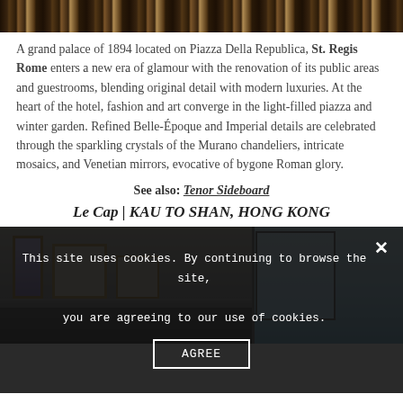[Figure (photo): Top decorative image showing ornate mosaic or carpet pattern with dark background and gold/amber tones]
A grand palace of 1894 located on Piazza Della Republica, St. Regis Rome enters a new era of glamour with the renovation of its public areas and guestrooms, blending original detail with modern luxuries. At the heart of the hotel, fashion and art converge in the light-filled piazza and winter garden. Refined Belle-Époque and Imperial details are celebrated through the sparkling crystals of the Murano chandeliers, intricate mosaics, and Venetian mirrors, evocative of bygone Roman glory.
See also: Tenor Sideboard
Le Cap | KAU TO SHAN, HONG KONG
[Figure (photo): Interior photo showing framed artwork on walls on the left, and a window with blue sky visible on the right. Bottom portion shows dark overlay with cookie consent banner.]